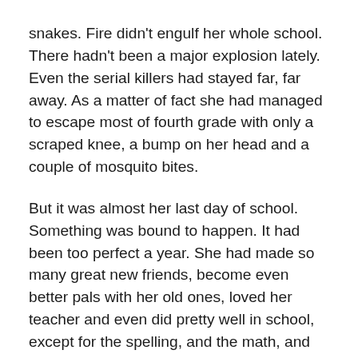snakes. Fire didn't engulf her whole school. There hadn't been a major explosion lately. Even the serial killers had stayed far, far away. As a matter of fact she had managed to escape most of fourth grade with only a scraped knee, a bump on her head and a couple of mosquito bites.
But it was almost her last day of school. Something was bound to happen. It had been too perfect a year. She had made so many great new friends, become even better pals with her old ones, loved her teacher and even did pretty well in school, except for the spelling, and the math, and maybe talking in class, but really, it was an amazing year.
Something was bound to jinx it. She looked everywhere for black cats crossing her path, walked around instead of under all the ladders, shuddered whenever she heard the number 13, threw salt over her shoulder and kept her fingers crossed while knocking on wood. No precaution